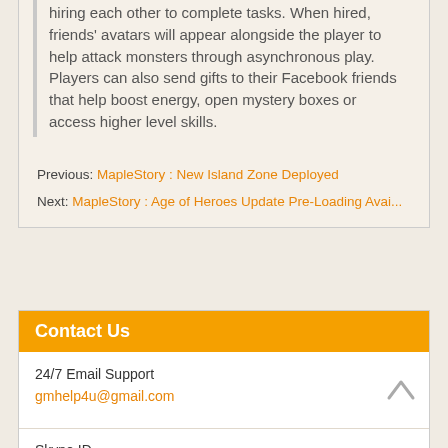hiring each other to complete tasks. When hired, friends' avatars will appear alongside the player to help attack monsters through asynchronous play. Players can also send gifts to their Facebook friends that help boost energy, open mystery boxes or access higher level skills.
Previous: MapleStory : New Island Zone Deployed
Next: MapleStory : Age of Heroes Update Pre-Loading Avai...
Contact Us
24/7 Email Support
gmhelp4u@gmail.com
Skype ID